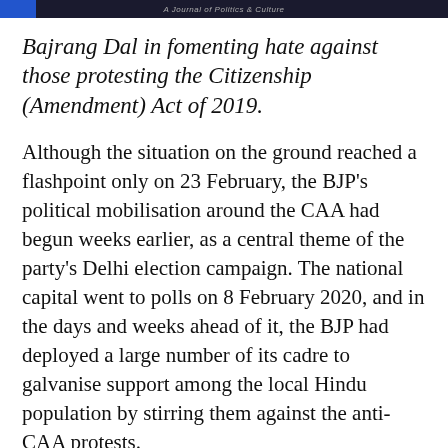A Journal of Politics & Culture
Bajrang Dal in fomenting hate against those protesting the Citizenship (Amendment) Act of 2019.
Although the situation on the ground reached a flashpoint only on 23 February, the BJP's political mobilisation around the CAA had begun weeks earlier, as a central theme of the party's Delhi election campaign. The national capital went to polls on 8 February 2020, and in the days and weeks ahead of it, the BJP had deployed a large number of its cadre to galvanise support among the local Hindu population by stirring them against the anti-CAA protests.
Anupam Pandey, the president of the BJP's Sonia